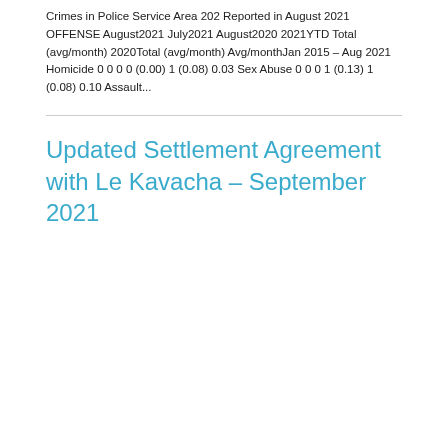Crimes in Police Service Area 202 Reported in August 2021 OFFENSE August2021 July2021 August2020 2021YTD Total (avg/month) 2020Total (avg/month) Avg/monthJan 2015 – Aug 2021 Homicide 0 0 0 0 (0.00) 1 (0.08) 0.03 Sex Abuse 0 0 0 1 (0.13) 1 (0.08) 0.10 Assault...
Updated Settlement Agreement with Le Kavacha – September 2021